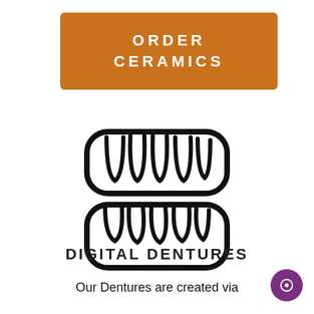ORDER CERAMICS
[Figure (illustration): Line art icon of dental dentures showing upper and lower teeth sets with curved shapes]
DIGITAL DENTURES
Our Dentures are created via